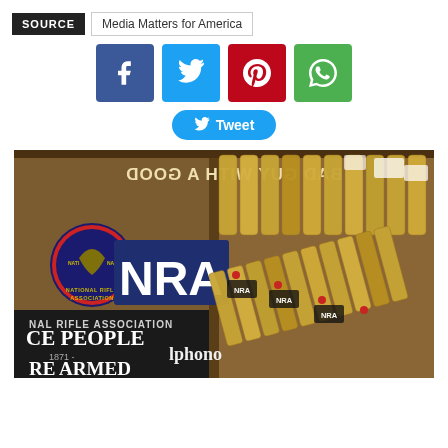SOURCE   Media Matters for America
[Figure (infographic): Social media share buttons: Facebook (blue), Twitter (light blue), Pinterest (red), WhatsApp (green), and a Tweet button]
[Figure (photo): Photo of NRA (National Rifle Association) merchandise in boxes, including NRA logo signs and bullet-shaped items with NRA branding, and signs reading 'Bad Guy With A Good...' and 'Free People...Armed']